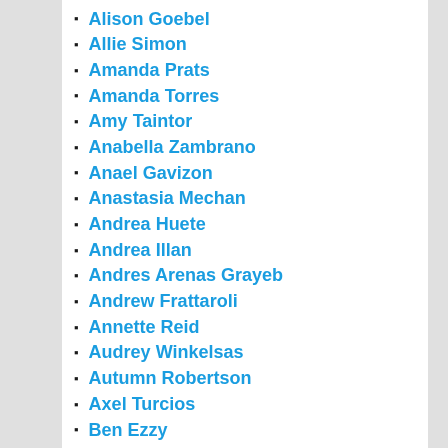Alison Goebel
Allie Simon
Amanda Prats
Amanda Torres
Amy Taintor
Anabella Zambrano
Anael Gavizon
Anastasia Mechan
Andrea Huete
Andrea Illan
Andres Arenas Grayeb
Andrew Frattaroli
Annette Reid
Audrey Winkelsas
Autumn Robertson
Axel Turcios
Ben Ezzy
Breana Ross
Brennan Prusak
Briana Scott
Brittany Chandani